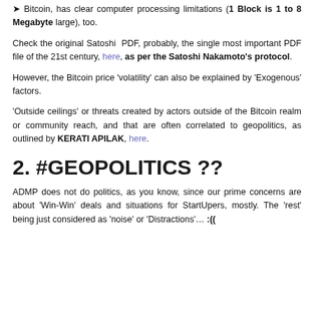Bitcoin, has clear computer processing limitations (1 Block is 1 to 8 Megabyte large), too.
Check the original Satoshi PDF, probably, the single most important PDF file of the 21st century, here, as per the Satoshi Nakamoto's protocol.
However, the Bitcoin price 'volatility' can also be explained by 'Exogenous' factors.
'Outside ceilings' or threats created by actors outside of the Bitcoin realm or community reach, and that are often correlated to geopolitics, as outlined by KERATI APILAK, here.
2. #GEOPOLITICS ??
ADMP does not do politics, as you know, since our prime concerns are about 'Win-Win' deals and situations for StartUpers, mostly. The 'rest' being just considered as 'noise' or 'Distractions'… :((